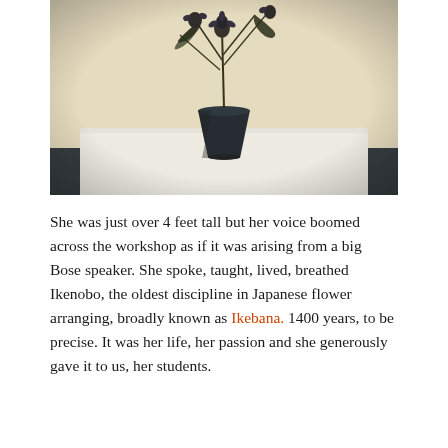[Figure (photo): A dark vase with flower arrangement (Ikebana style) sitting on a white table against a pale cream/yellow background. The vase is dark navy/black, conical shaped. Flowers and palm fronds extend upward. The image has a warm vintage tint.]
She was just over 4 feet tall but her voice boomed across the workshop as if it was arising from a big Bose speaker. She spoke, taught, lived, breathed Ikenobo, the oldest discipline in Japanese flower arranging, broadly known as Ikebana. 1400 years, to be precise. It was her life, her passion and she generously gave it to us, her students.